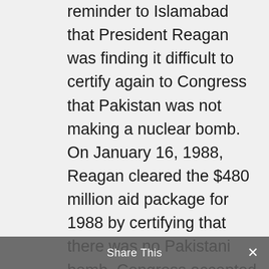reminder to Islamabad that President Reagan was finding it difficult to certify again to Congress that Pakistan was not making a nuclear bomb. On January 16, 1988, Reagan cleared the $480 million aid package for 1988 by certifying that there was no Pakistani bomb. Congress accepted the certification because of the sensitive stage that the Afghanistan negotiations had reached, rather than with any assurance that Pakistan had really downgraded its nuclear program.
The threat of aid reductions comes at a time when Pakistan faces an economic crisis, which economists say is much worse than the one the country faced in 197[Share This]...lost the war in